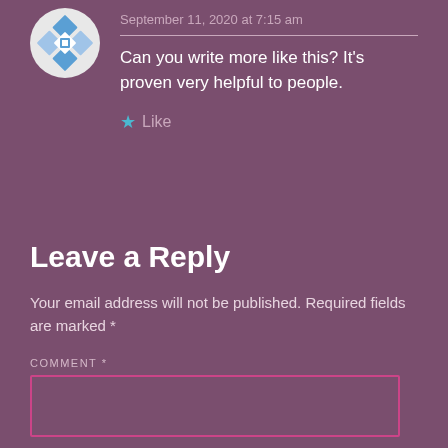September 11, 2020 at 7:15 am
Can you write more like this? It's proven very helpful to people.
★ Like
Leave a Reply
Your email address will not be published. Required fields are marked *
COMMENT *